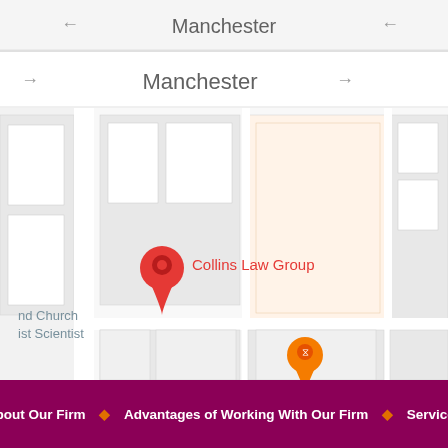[Figure (map): Google Maps screenshot showing a map of Manchester with a red location pin labeled 'Collins Law Group' and an orange pin labeled 'Lavender Blue'. The map shows street-level view with navigation arrows and 'Manchester' label at top. Partial text visible: 'nd Church' and 'ist Scientist'.]
About Our Firm  ◆  Advantages of Working With Our Firm  ◆  Services